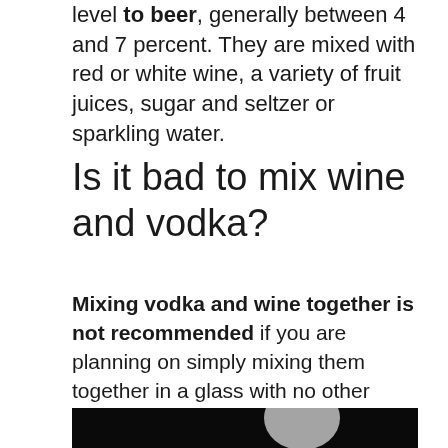level to beer, generally between 4 and 7 percent. They are mixed with red or white wine, a variety of fruit juices, sugar and seltzer or sparkling water.
Is it bad to mix wine and vodka?
Mixing vodka and wine together is not recommended if you are planning on simply mixing them together in a glass with no other ingredients. To mix vodka and wine successfully you need to look at making a fruit cocktail that consists of both drinks but also other ingredients.
[Figure (photo): Dark background photo showing what appears to be a glass or bottle against a black background]